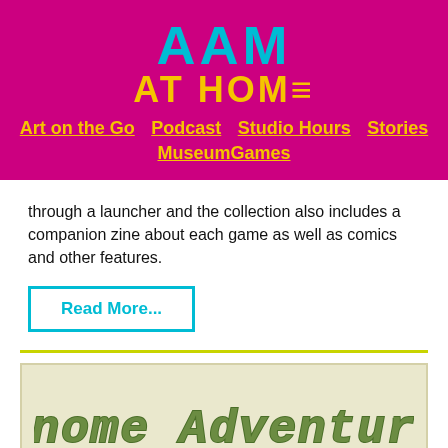[Figure (logo): AAM AT HOME logo in cyan and yellow on magenta background with navigation links: Art on the Go, Podcast, Studio Hours, Stories, MuseumGames]
through a launcher and the collection also includes a companion zine about each game as well as comics and other features.
Read More...
[Figure (illustration): Gnome Adventure text logo in green pixel/retro font on cream/beige background]